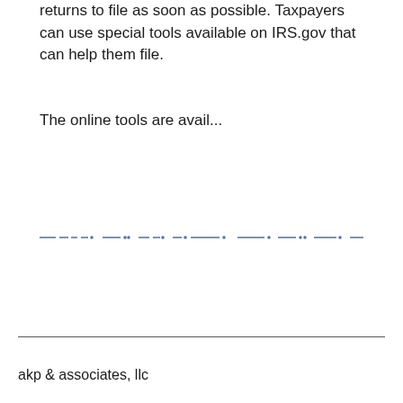returns to file as soon as possible. Taxpayers can use special tools available on IRS.gov that can help them file.
The online tools are avail...
[Figure (other): Redacted/obscured line of text rendered as dashes and dots]
akp & associates, llc